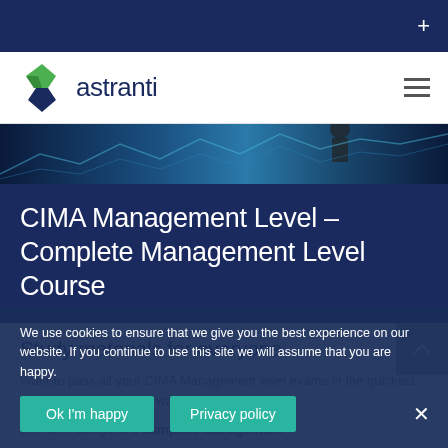+
[Figure (logo): Astranti logo with green diamond shape and company name 'astranti' in dark blue text]
[Figure (photo): Hero banner image showing a businessman looking at financial data screens with blue tones]
CIMA Management Level – Complete Management Level Course
Study materials for everyone
Want to pass all your CIMA Management level exams in the quickest and most cost effective way possible?
We have designed a complete Management
We use cookies to ensure that we give you the best experience on our website. If you continue to use this site we will assume that you are happy.